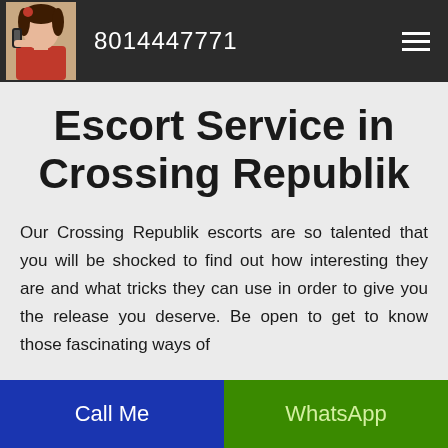8014447771
Escort Service in Crossing Republik
Our Crossing Republik escorts are so talented that you will be shocked to find out how interesting they are and what tricks they can use in order to give you the release you deserve. Be open to get to know those fascinating ways of
Call Me | WhatsApp